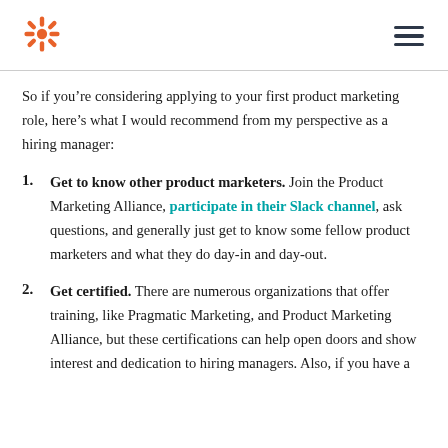HubSpot logo and navigation menu
So if you’re considering applying to your first product marketing role, here’s what I would recommend from my perspective as a hiring manager:
1. Get to know other product marketers. Join the Product Marketing Alliance, participate in their Slack channel, ask questions, and generally just get to know some fellow product marketers and what they do day-in and day-out.
2. Get certified. There are numerous organizations that offer training, like Pragmatic Marketing, and Product Marketing Alliance, but these certifications can help open doors and show interest and dedication to hiring managers. Also, if you have a